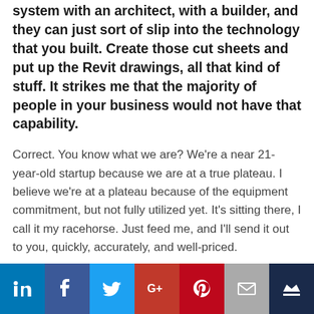system with an architect, with a builder, and they can just sort of slip into the technology that you built. Create those cut sheets and put up the Revit drawings, all that kind of stuff. It strikes me that the majority of people in your business would not have that capability.
Correct. You know what we are? We're a near 21-year-old startup because we are at a true plateau. I believe we're at a plateau because of the equipment commitment, but not fully utilized yet. It's sitting there, I call it my racehorse. Just feed me, and I'll send it out to you, quickly, accurately, and well-priced.
[Figure (infographic): Social sharing bar with icons for LinkedIn, Facebook, Twitter, Google+, Pinterest, Email, and a crown/bookmark icon]